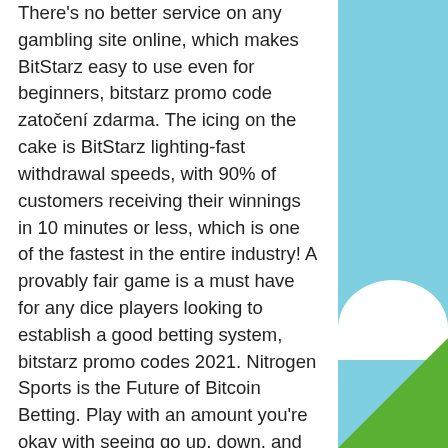There's no better service on any gambling site online, which makes BitStarz easy to use even for beginners, bitstarz promo code zatočení zdarma. The icing on the cake is BitStarz lighting-fast withdrawal speeds, with 90% of customers receiving their winnings in 10 minutes or less, which is one of the fastest in the entire industry! A provably fair game is a must have for any dice players looking to establish a good betting system, bitstarz promo codes 2021. Nitrogen Sports is the Future of Bitcoin Betting. Play with an amount you're okay with seeing go up, down, and sideways in terms of value, bitstarz promo code no deposit. That way you'll be more comfortable gambling cryptocurrencies and have more fun too. There are a number on the market, but only particular walkers are accepted by bookmakers. Always check which wallets are accepted by your bookie of choice, bitstarz promo code september 2021. These promotions will not only keep